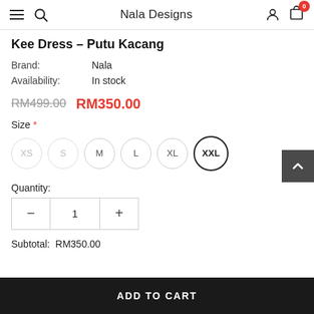Nala Designs
Kee Dress – Putu Kacang
Brand: Nala
Availability: In stock
RM499.00  RM350.00
Size *
XS  S  M  L  XL  XXL
Quantity:
- 1 +
Subtotal: RM350.00
ADD TO CART